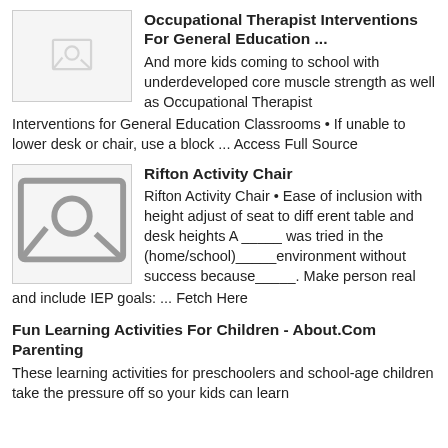Occupational Therapist Interventions For General Education ...
And more kids coming to school with underdeveloped core muscle strength as well as Occupational Therapist Interventions for General Education Classrooms • If unable to lower desk or chair, use a block ... Access Full Source
Rifton Activity Chair
Rifton Activity Chair • Ease of inclusion with height adjust of seat to diff erent table and desk heights A _____ was tried in the (home/school)_____environment without success because_____. Make person real and include IEP goals: ... Fetch Here
Fun Learning Activities For Children - About.Com Parenting
These learning activities for preschoolers and school-age children take the pressure off so your kids can learn